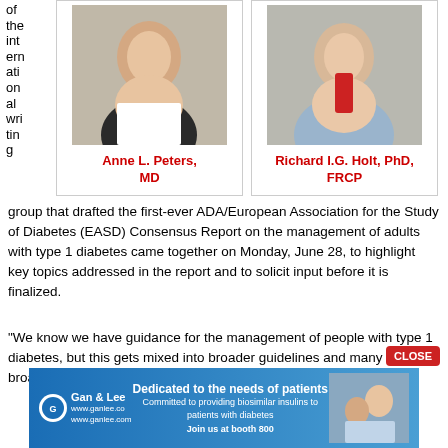of the international writing group that drafted the first-ever ADA/European Association for the Study of Diabetes (EASD) Consensus Report on the management of adults with type 1 diabetes came together on Monday, June 28, to highlight key topics addressed in the report and to solicit input before it is finalized.
[Figure (photo): Headshot photo of Anne L. Peters, MD]
Anne L. Peters, MD
[Figure (photo): Headshot photo of Richard I.G. Holt, PhD, FRCP]
Richard I.G. Holt, PhD, FRCP
“We know we have guidance for the management of people with type 1 diabetes, but this gets mixed into broader guidelines and many of those broader guidelines
[Figure (other): Gan & Lee advertisement banner: Dedicated to the needs of patients. Committed to providing biosimilar insulins to patients with diabetes. Join us at booth 800.]